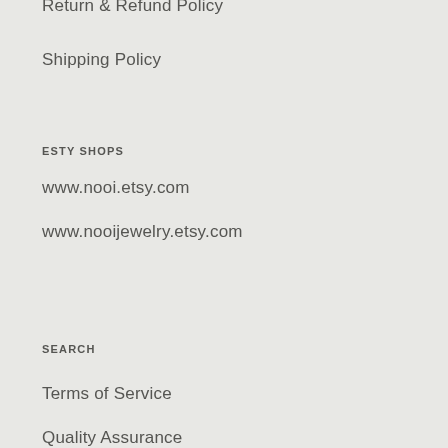Return & Refund Policy
Shipping Policy
ESTY SHOPS
www.nooi.etsy.com
www.nooijewelry.etsy.com
SEARCH
Terms of Service
Quality Assurance